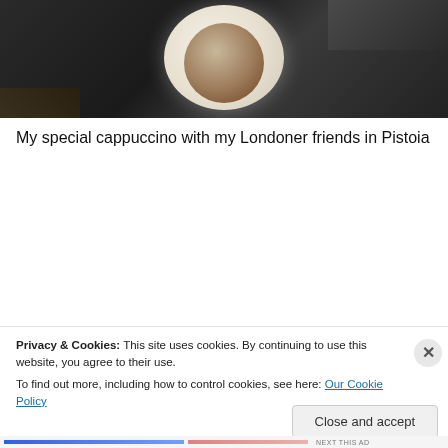[Figure (photo): Overhead view of a cappuccino cup on a dark table surface]
My special cappuccino with my Londoner friends in Pistoia
[Figure (photo): Street scene in Pistoia, Italy showing old stone buildings, archways, a Christmas tree, and a person in a yellow jacket]
Privacy & Cookies: This site uses cookies. By continuing to use this website, you agree to their use.
To find out more, including how to control cookies, see here: Our Cookie Policy
Close and accept